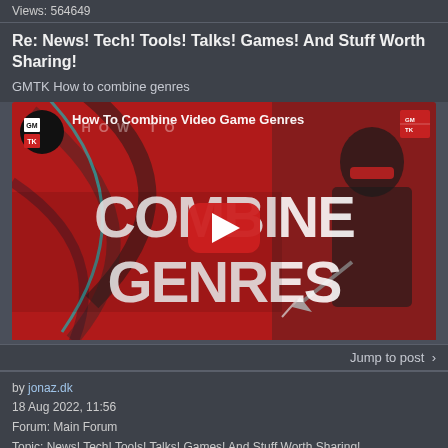Views: 564649
Re: News! Tech! Tools! Talks! Games! And Stuff Worth Sharing!
GMTK How to combine genres
[Figure (screenshot): YouTube video thumbnail for 'How To Combine Video Game Genres' by GMTK, showing red background with anime-style character and large white text 'COMBINE GENRES', with a red YouTube play button in the center]
Jump to post >
by jonaz.dk
18 Aug 2022, 11:56
Forum: Main Forum
Topic: News! Tech! Tools! Talks! Games! And Stuff Worth Sharing!
Replies: 1408